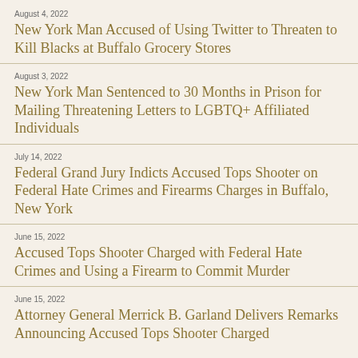August 4, 2022 — New York Man Accused of Using Twitter to Threaten to Kill Blacks at Buffalo Grocery Stores
August 3, 2022 — New York Man Sentenced to 30 Months in Prison for Mailing Threatening Letters to LGBTQ+ Affiliated Individuals
July 14, 2022 — Federal Grand Jury Indicts Accused Tops Shooter on Federal Hate Crimes and Firearms Charges in Buffalo, New York
June 15, 2022 — Accused Tops Shooter Charged with Federal Hate Crimes and Using a Firearm to Commit Murder
June 15, 2022 — Attorney General Merrick B. Garland Delivers Remarks Announcing Accused Tops Shooter Charged with Federal Hate Crimes and Using a Firearm…